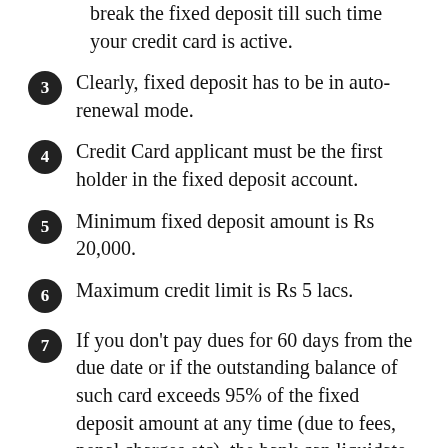(partial) break the fixed deposit till such time your credit card is active.
3. Clearly, fixed deposit has to be in auto-renewal mode.
4. Credit Card applicant must be the first holder in the fixed deposit account.
5. Minimum fixed deposit amount is Rs 20,000.
6. Maximum credit limit is Rs 5 lacs.
7. If you don't pay dues for 60 days from the due date or if the outstanding balance of such card exceeds 95% of the fixed deposit amount at any time (due to fees, penal charges etc), the bank can liquidate the fixed deposit to settle the credit card account.
8. You can expect the card issuance process to be quite smooth. You need to open a fixed